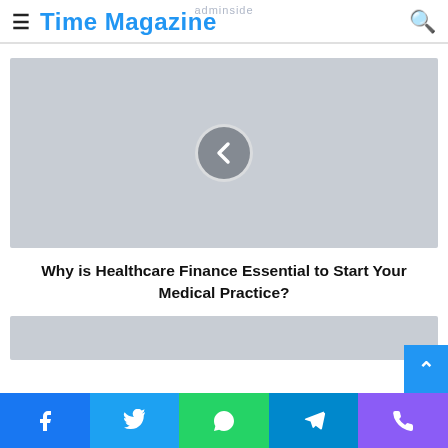Time Magazine
[Figure (screenshot): Gray placeholder image for an article slider with a left chevron navigation button in the center]
Why is Healthcare Finance Essential to Start Your Medical Practice?
[Figure (screenshot): Gray placeholder for the next article card at the bottom]
Social sharing bar: Facebook, Twitter, WhatsApp, Telegram, Phone